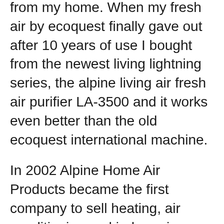from my home. When my fresh air by ecoquest finally gave out after 10 years of use I bought from the newest living lightning series, the alpine living air fresh air purifier LA-3500 and it works even better than the old ecoquest international machine.
In 2002 Alpine Home Air Products became the first company to sell heating, air conditioning and indoor air-quality products online. We have proudly served hundreds of thousands of customers, helping them save time and money by buying their products direct. living air 880 - Unique Gift Ideas - mySimon is the premier price comparison shopping online site letting